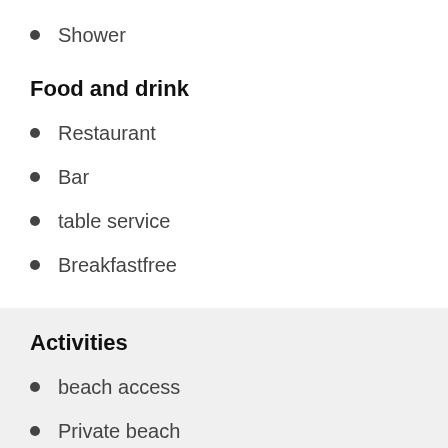Shower
Food and drink
Restaurant
Bar
table service
Breakfastfree
Activities
beach access
Private beach